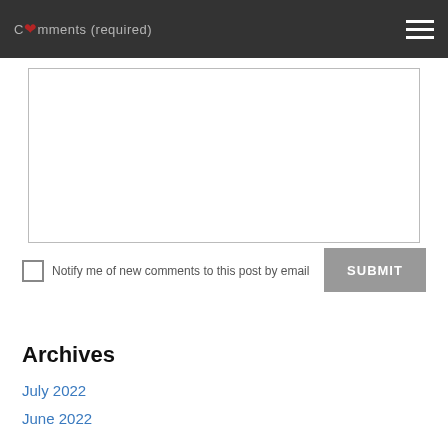Comments (required)
[Figure (screenshot): Empty comment textarea input box with grey border]
Notify me of new comments to this post by email
SUBMIT
Archives
July 2022
June 2022